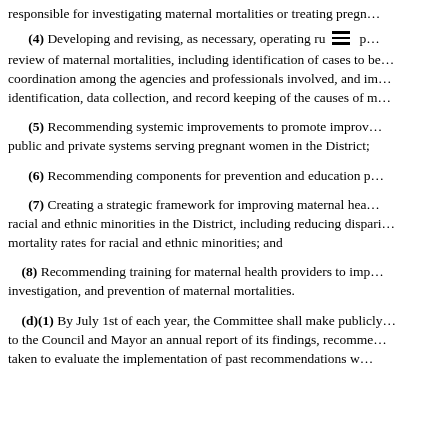responsible for investigating maternal mortalities or treating pregn…
(4) Developing and revising, as necessary, operating ru… p… review of maternal mortalities, including identification of cases to be… coordination among the agencies and professionals involved, and im… identification, data collection, and record keeping of the causes of m…
(5) Recommending systemic improvements to promote improv… public and private systems serving pregnant women in the District;
(6) Recommending components for prevention and education p…
(7) Creating a strategic framework for improving maternal hea… racial and ethnic minorities in the District, including reducing dispari… mortality rates for racial and ethnic minorities; and
(8) Recommending training for maternal health providers to imp… investigation, and prevention of maternal mortalities.
(d)(1) By July 1st of each year, the Committee shall make publicly… to the Council and Mayor an annual report of its findings, recomme… taken to evaluate the implementation of past recommendations w…